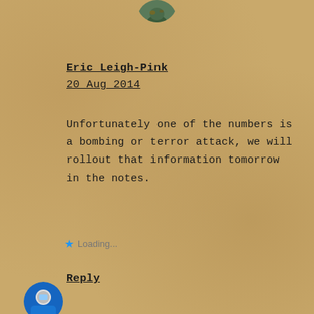[Figure (photo): Partial avatar/profile image at top center, partially cropped]
Eric Leigh-Pink
20 Aug 2014
Unfortunately one of the numbers is a bombing or terror attack, we will rollout that information tomorrow in the notes.
★ Loading...
Reply
[Figure (photo): Partial avatar/profile image at bottom left, partially cropped]